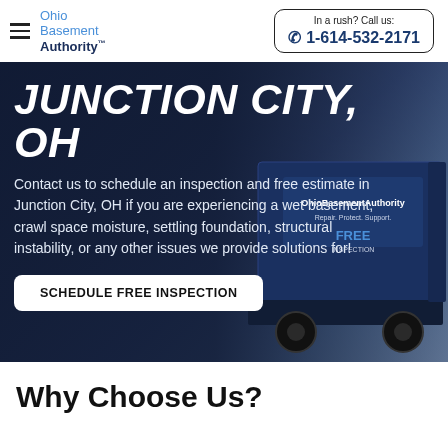Ohio Basement Authority™ — In a rush? Call us: 1-614-532-2171
[Figure (photo): Hero banner with dark blue overlay showing an Ohio Basement Authority branded truck in the background, with the text 'JUNCTION CITY, OH' as the main heading, a body paragraph, and a 'SCHEDULE FREE INSPECTION' button.]
JUNCTION CITY, OH
Contact us to schedule an inspection and free estimate in Junction City, OH if you are experiencing a wet basement, crawl space moisture, settling foundation, structural instability, or any other issues we provide solutions for!
Why Choose Us?